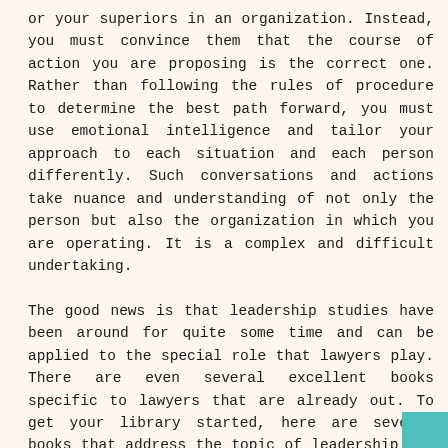or your superiors in an organization. Instead, you must convince them that the course of action you are proposing is the correct one. Rather than following the rules of procedure to determine the best path forward, you must use emotional intelligence and tailor your approach to each situation and each person differently. Such conversations and actions take nuance and understanding of not only the person but also the organization in which you are operating. It is a complex and difficult undertaking.
The good news is that leadership studies have been around for quite some time and can be applied to the special role that lawyers play. There are even several excellent books specific to lawyers that are already out. To get your library started, here are several books that address the topic of leadership for lawyers: